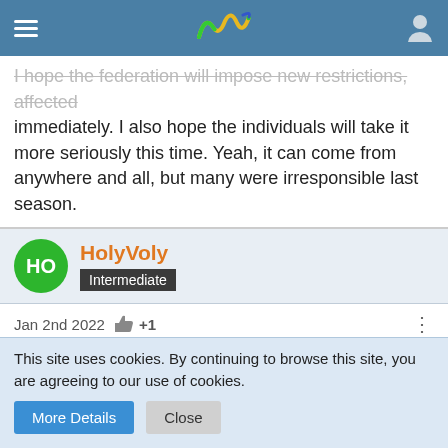[Figure (screenshot): Website navigation bar with hamburger menu, colorful wave logo, and user icon on blue background]
I hope the federation will impose new restrictions, affected immediately. I also hope the individuals will take it more seriously this time. Yeah, it can come from anywhere and all, but many were irresponsible last season.
HolyVoly
Intermediate
Jan 2nd 2022  +1
I think these are the very first cases in this Sultans' League season? We have been quite lucky so far.
Brtkk likes this.
This site uses cookies. By continuing to browse this site, you are agreeing to our use of cookies.